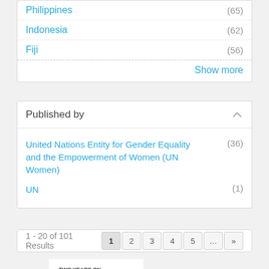Philippines (65)
Indonesia (62)
Fiji (56)
Show more
Published by
United Nations Entity for Gender Equality and the Empowerment of Women (UN Women) (36)
UN (1)
1 - 20 of 101 Results
1 2 3 4 5 ... »
[Figure (photo): Book cover: TWO YEARS ON, with colorful pencil-like graphic design]